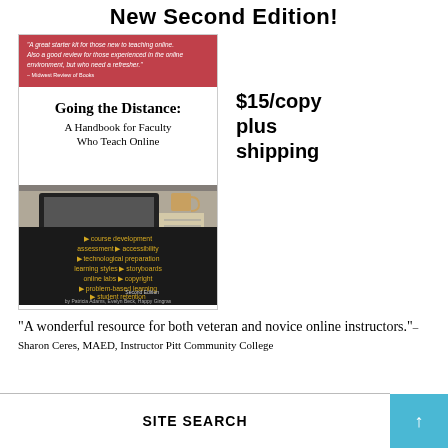New Second Edition!
[Figure (illustration): Book cover of 'Going the Distance: A Handbook for Faculty Who Teach Online' Second Edition by Patricia Adams, Evelyn Beck, Happy Gingras. Cover shows a laptop, notebook, coffee mug on a desk. Pink banner at top with a review quote. Dark bottom section listing topics: course development, assessment, accessibility, technological preparation, learning styles, storyboards, online labs, copyright, problem-based learning, student retention.]
$15/copy plus shipping
“A wonderful resource for both veteran and novice online instructors.”–Sharon Ceres, MAED, Instructor Pitt Community College
SITE SEARCH